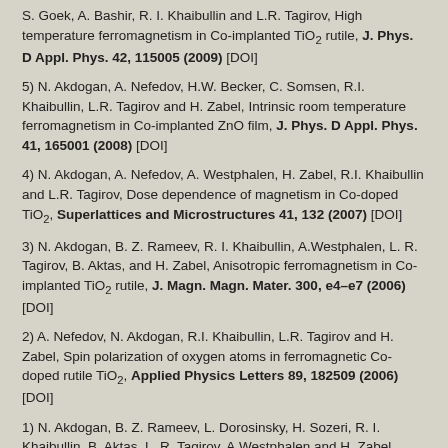S. Goek, A. Bashir, R. I. Khaibullin and L.R. Tagirov, High temperature ferromagnetism in Co-implanted TiO2 rutile, J. Phys. D Appl. Phys. 42, 115005 (2009) [DOI]
5) N. Akdogan, A. Nefedov, H.W. Becker, C. Somsen, R.I. Khaibullin, L.R. Tagirov and H. Zabel, Intrinsic room temperature ferromagnetism in Co-implanted ZnO film, J. Phys. D Appl. Phys. 41, 165001 (2008) [DOI]
4) N. Akdogan, A. Nefedov, A. Westphalen, H. Zabel, R.I. Khaibullin and L.R. Tagirov, Dose dependence of magnetism in Co-doped TiO2, Superlattices and Microstructures 41, 132 (2007) [DOI]
3) N. Akdogan, B. Z. Rameev, R. I. Khaibullin, A.Westphalen, L. R. Tagirov, B. Aktas, and H. Zabel, Anisotropic ferromagnetism in Co-implanted TiO2 rutile, J. Magn. Magn. Mater. 300, e4–e7 (2006) [DOI]
2) A. Nefedov, N. Akdogan, R.I. Khaibullin, L.R. Tagirov and H. Zabel, Spin polarization of oxygen atoms in ferromagnetic Co-doped rutile TiO2, Applied Physics Letters 89, 182509 (2006) [DOI]
1) N. Akdogan, B. Z. Rameev, L. Dorosinsky, H. Sozeri, R. I. Khaibullin, B. Aktas, L. R. Tagirov, A.Westphalen and H. Zabel, Anisotropy of ferromagnetism in Co-implanted rutile, J. Phys. Condensed Matter, 17, L359–L366 (2005) [DOI]